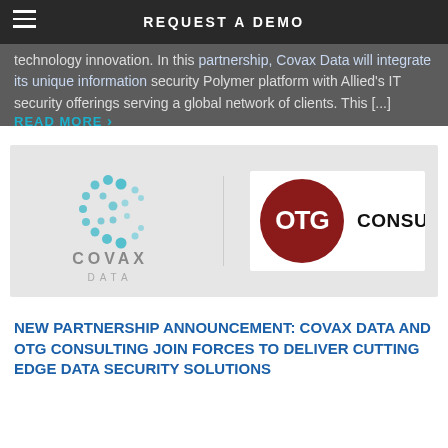REQUEST A DEMO
technology innovation. In this partnership, Covax Data will integrate its unique information security Polymer platform with Allied's IT security offerings serving a global network of clients. This [...]
READ MORE ›
[Figure (logo): Side-by-side logos: Covax Data (teal dotted C lettermark with grey COVAX DATA text) and OTG Consulting (dark red circle with OTG text and CONSULTING in black)]
NEW PARTNERSHIP ANNOUNCEMENT: COVAX DATA AND OTG CONSULTING JOIN FORCES TO DELIVER CUTTING EDGE DATA SECURITY SOLUTIONS